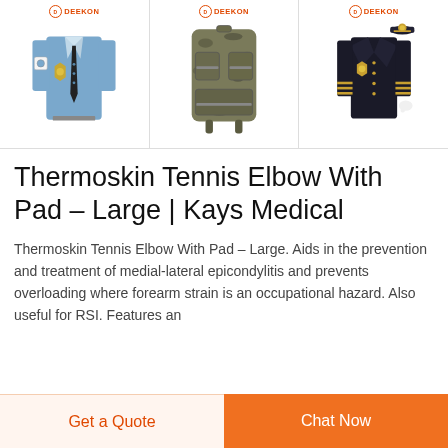[Figure (photo): Three product images showing uniforms/gear with DEEKON brand logos: a blue security guard shirt with badge and tie, a military tactical backpack in camouflage, and a dark navy officer jacket with gold stripes and badge]
Thermoskin Tennis Elbow With Pad - Large | Kays Medical
Thermoskin Tennis Elbow With Pad – Large. Aids in the prevention and treatment of medial-lateral epicondylitis and prevents overloading where forearm strain is an occupational hazard. Also useful for RSI. Features an
Get a Quote
Chat Now